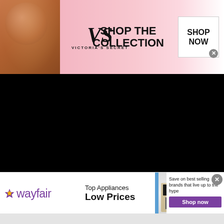[Figure (advertisement): Victoria's Secret banner advertisement with pink background, woman model on left, VS logo in center, 'SHOP THE COLLECTION' text, and 'SHOP NOW' button on right]
[Figure (photo): Large black area - video player or dark content area]
[Figure (advertisement): Wayfair banner advertisement with wayfair logo, 'Top Appliances Low Prices' text, stove/range appliance image, and 'Save on best selling brands that live up to the hype' with purple 'Shop now' button]